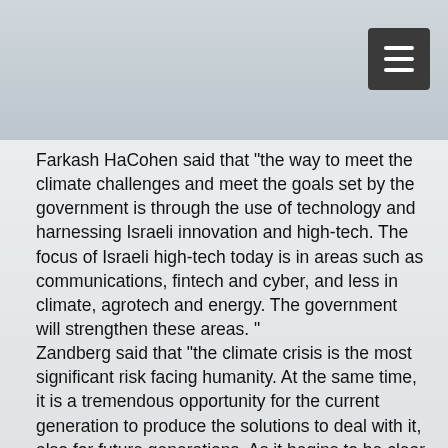Farkash HaCohen said that "the way to meet the climate challenges and meet the goals set by the government is through the use of technology and harnessing Israeli innovation and high-tech. The focus of Israeli high-tech today is in areas such as communications, fintech and cyber, and less in climate, agrotech and energy. The government will strengthen these areas. "
Zandberg said that "the climate crisis is the most significant risk facing humanity. At the same time, it is a tremendous opportunity for the current generation to produce the solutions to deal with it, also for future generations. As it begins to be clear to everyone, beyond Israeli".
Elharar said that "the Ministry of Energy, together with our partners in the government, understand that the way to meet the challenging goals of the energy sector is through innovative technology. While it is estimated that about 45% of technologies implemented in 2050 have not yet been invented "We already have the technology to meet the goals by 2030. Only by cooperating between the ministries of the